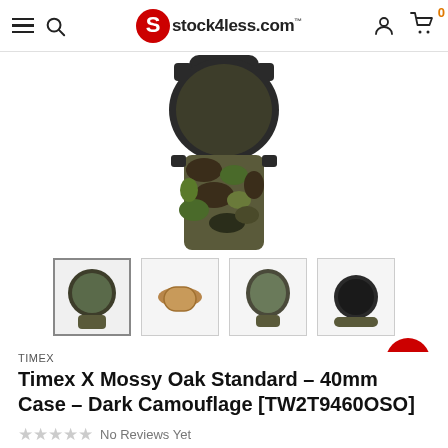stock4less.com
[Figure (photo): Timex X Mossy Oak watch shown from above, displaying camouflage watch band]
[Figure (photo): Four thumbnail product images of the Timex watch from different angles]
TIMEX
Timex X Mossy Oak Standard – 40mm Case – Dark Camouflage [TW2T9460OSO]
No Reviews Yet
PRODUCT CODE: TW2T94600SO-TIM